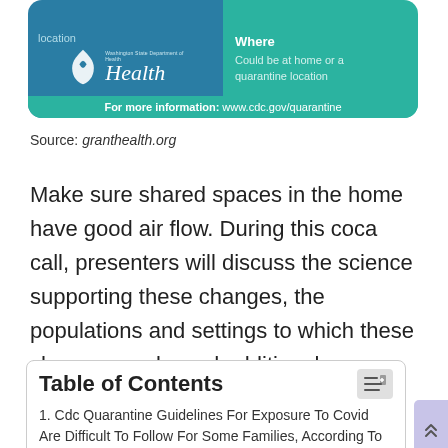[Figure (infographic): Washington State Department of Health logo on teal/blue banner with 'Where: Could be at home or a quarantine location' and 'For more information: www.cdc.gov/quarantine']
Source: granthealth.org
Make sure shared spaces in the home have good air flow. During this coca call, presenters will discuss the science supporting these changes, the populations and settings to which these changes apply, and additional precautions people should take at the end of.
Table of Contents
1. Cdc Quarantine Guidelines For Exposure To Covid Are Difficult To Follow For Some Families, According To A Boise Family.